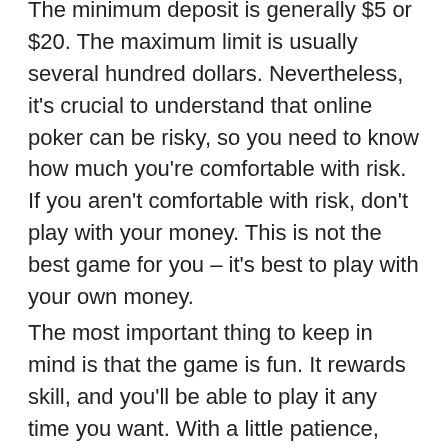The minimum deposit is generally $5 or $20. The maximum limit is usually several hundred dollars. Nevertheless, it's crucial to understand that online poker can be risky, so you need to know how much you're comfortable with risk. If you aren't comfortable with risk, don't play with your money. This is not the best game for you – it's best to play with your own money.
The most important thing to keep in mind is that the game is fun. It rewards skill, and you'll be able to play it any time you want. With a little patience, you can learn the tricks and play poker for the right stakes. There are so many benefits to playing online. In fact, the most important reason to play poker is to win real money! It's as simple as that. And that's the best part of it!